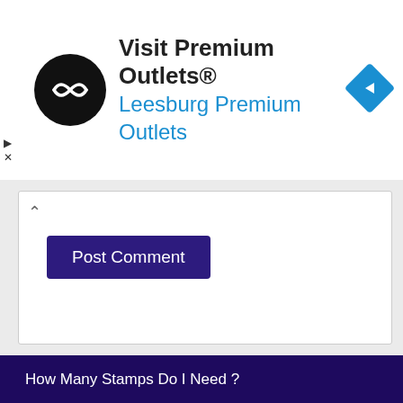[Figure (logo): Premium Outlets ad banner with circular black logo, text 'Visit Premium Outlets® Leesburg Premium Outlets', and blue diamond arrow icon]
Post Comment
How Many Stamps Do I Need ?
How Many Sheets Of Paper Per Stamp?
What Is USPS ButterFly Stamp Value?
How To Create Paypal Shipping Label Without Purchase ?
Does Kroger Sell Stamps ?